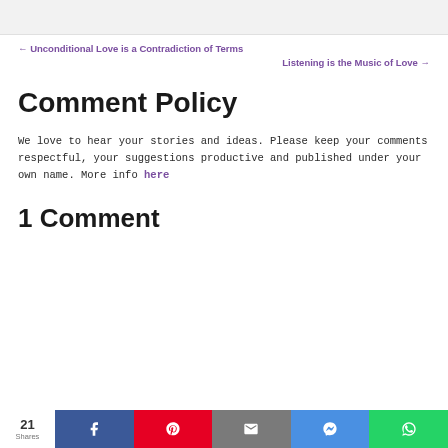[Figure (other): Gray header bar at top of page]
← Unconditional Love is a Contradiction of Terms
Listening is the Music of Love →
Comment Policy
We love to hear your stories and ideas. Please keep your comments respectful, your suggestions productive and published under your own name. More info here
1 Comment
[Figure (other): Social share bar with 21 Shares count, and buttons for Facebook, Pinterest, Email, Messenger, and WhatsApp]